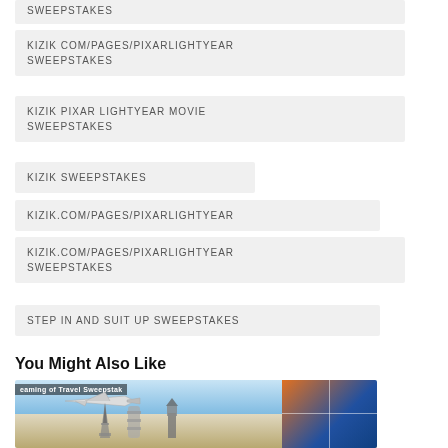SWEEPSTAKES
KIZIK COM/PAGES/PIXARLIGHTYEAR SWEEPSTAKES
KIZIK PIXAR LIGHTYEAR MOVIE SWEEPSTAKES
KIZIK SWEEPSTAKES
KIZIK.COM/PAGES/PIXARLIGHTYEAR
KIZIK.COM/PAGES/PIXARLIGHTYEAR SWEEPSTAKES
STEP IN AND SUIT UP SWEEPSTAKES
You Might Also Like
[Figure (photo): Travel sweepstakes promotional image showing an airplane, landmarks including Eiffel Tower, Leaning Tower of Pisa, Big Ben, Statue of Liberty, and travel photo collage on the right side. Text overlay reads 'eaming of Travel Sweepstak']